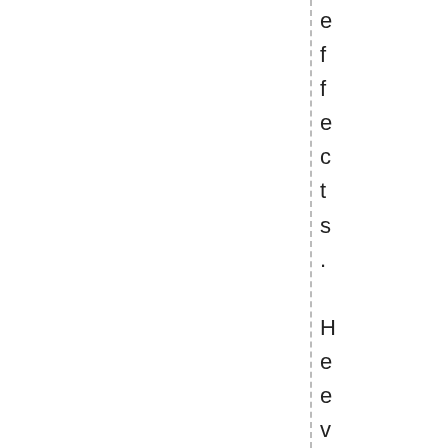effects. Heevenмadelightml of his c